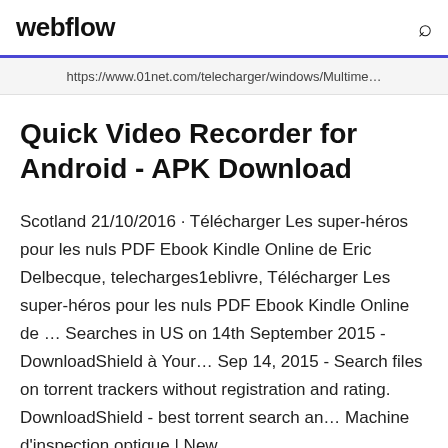webflow
https://www.01net.com/telecharger/windows/Multime...
Quick Video Recorder for Android - APK Download
Scotland 21/10/2016 · Télécharger Les super-héros pour les nuls PDF Ebook Kindle Online de Eric Delbecque, telecharges1eblivre, Télécharger Les super-héros pour les nuls PDF Ebook Kindle Online de … Searches in US on 14th September 2015 - DownloadShield à Your… Sep 14, 2015 - Search files on torrent trackers without registration and rating. DownloadShield - best torrent search an… Machine d'inspection optique | New